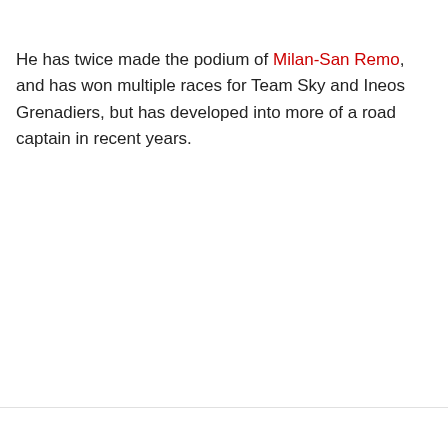He has twice made the podium of Milan-San Remo, and has won multiple races for Team Sky and Ineos Grenadiers, but has developed into more of a road captain in recent years.